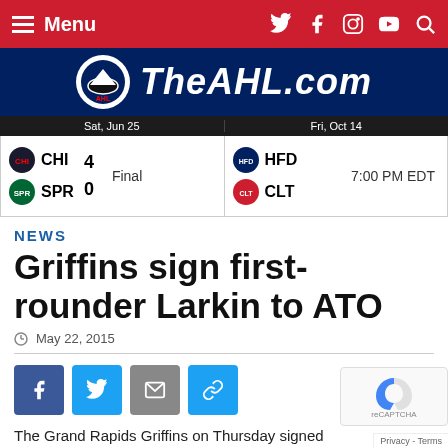Menu | TheAHL.com navigation
[Figure (logo): TheAHL.com logo with AHL hockey puck icon on dark blue background]
| Date | Team | Score | Status | Date2 | Teams2 | Time |
| --- | --- | --- | --- | --- | --- | --- |
| Sat, Jun 25 | CHI 4 / SPR 0 | Final | Fri, Oct 14 | HFD / CLT | 7:00 PM EDT |
NEWS
Griffins sign first-rounder Larkin to ATO
May 22, 2015
The Grand Rapids Griffins on Thursday signed